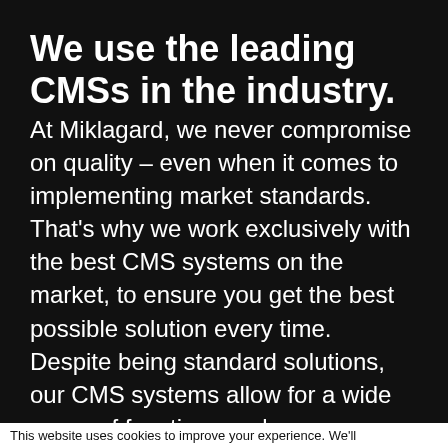We use the leading CMSs in the industry.
At Miklagard, we never compromise on quality – even when it comes to implementing market standards. That's why we work exclusively with the best CMS systems on the market, to ensure you get the best possible solution every time. Despite being standard solutions, our CMS systems allow for a wide range of functions and customizations. This means that you can look forward to a customized solution that meets your
This website uses cookies to improve your experience. We'll